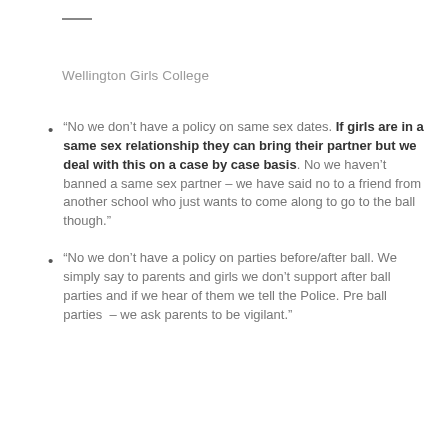Wellington Girls College
“No we don’t have a policy on same sex dates. If girls are in a same sex relationship they can bring their partner but we deal with this on a case by case basis. No we haven’t banned a same sex partner – we have said no to a friend from another school who just wants to come along to go to the ball though.”
“No we don’t have a policy on parties before/after ball. We simply say to parents and girls we don’t support after ball parties and if we hear of them we tell the Police. Pre ball parties – we ask parents to be vigilant.”